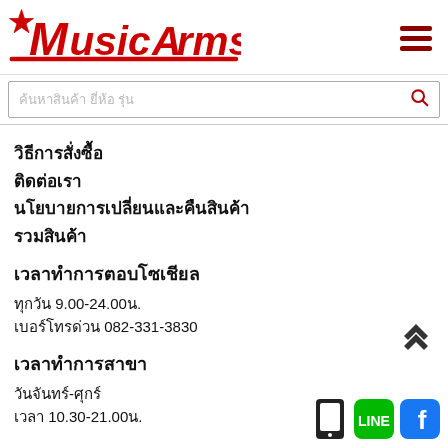[Figure (logo): MusicArms logo in red with a star, stylized text]
ค้นหาสินค้า ยี่ห้อ รุ่น (search placeholder)
วิธีการสั่งซื้อ
ติดต่อเรา
นโยบายการเปลี่ยนและคืนสินค้า
รวมสินค้า
เวลาทำการตอบโซเชียล
ทุกวัน 9.00-24.00น.
เบอร์โทรด่วน 082-331-3830
เวลาทำการสาขา
วันจันทร์-ศุกร์
เวลา 10.30-21.00น.